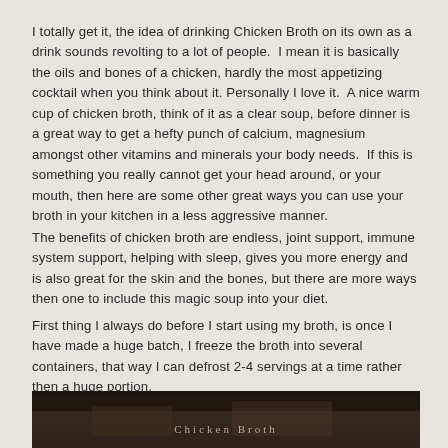I totally get it, the idea of drinking Chicken Broth on its own as a drink sounds revolting to a lot of people.  I mean it is basically the oils and bones of a chicken, hardly the most appetizing cocktail when you think about it. Personally I love it.  A nice warm cup of chicken broth, think of it as a clear soup, before dinner is a great way to get a hefty punch of calcium, magnesium amongst other vitamins and minerals your body needs.  If this is something you really cannot get your head around, or your mouth, then here are some other great ways you can use your broth in your kitchen in a less aggressive manner.
The benefits of chicken broth are endless, joint support, immune system support, helping with sleep, gives you more energy and is also great for the skin and the bones, but there are more ways then one to include this magic soup into your diet.
First thing I always do before I start using my broth, is once I have made a huge batch, I freeze the broth into several containers, that way I can defrost 2-4 servings at a time rather then a huge portion.
[Figure (photo): Dark photograph of chicken broth or related food, partially visible at the bottom of the page with a decorative script overlay]